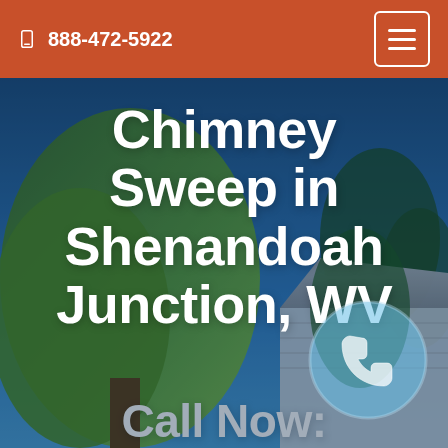888-472-5922
Chimney Sweep in Shenandoah Junction, WV
Call Now: